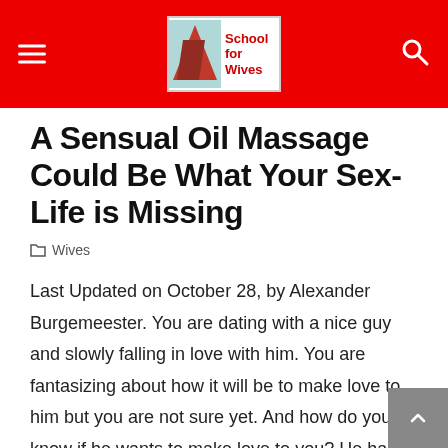School for Wives
A Sensual Oil Massage Could Be What Your Sex-Life is Missing
Wives
Last Updated on October 28, by Alexander Burgemeester. You are dating with a nice guy and slowly falling in love with him. You are fantasizing about how it will be to make love to him but you are not sure yet. And how do you know if he wants to make love to you? He has no interest in being in a long-term relationship with you, no matter what he says.
Adoration is one of the most collective human experiences of all – yet it's allay not easy to define. Often, you just know